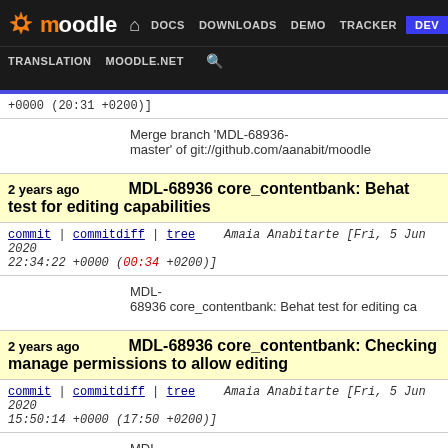moodle DOCS DOWNLOADS DEMO TRACKER DEV TRANSLATION MOODLE.NET
+0000 (20:31 +0200)]
Merge branch 'MDL-68936-master' of git://github.com/aanabit/moodle
2 years ago   MDL-68936 core_contentbank: Behat test for editing capabilities
commit | commitdiff | tree   Amaia Anabitarte [Fri, 5 Jun 2020 22:34:22 +0000 (00:34 +0200)]
MDL-68936 core_contentbank: Behat test for editing ca
2 years ago   MDL-68936 core_contentbank: Checking manage permissions to allow editing
commit | commitdiff | tree   Amaia Anabitarte [Fri, 5 Jun 2020 15:50:14 +0000 (17:50 +0200)]
MDL-68936 core_contentbank: Checking manage perm